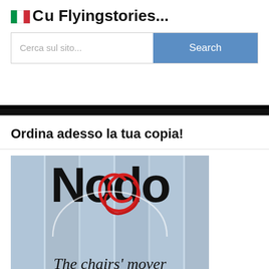Cerca su Flyingstories...
[Figure (screenshot): Search bar with placeholder text 'Cerca sul sito...' and blue Search button]
Ordina adesso la tua copia!
[Figure (illustration): Book cover illustration showing 'Nodo the chairs mover' with large bold text on a blue wooden plank background with a red rope/knot design]